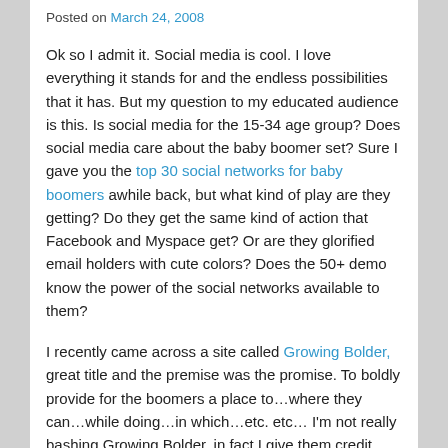Posted on March 24, 2008
Ok so I admit it. Social media is cool. I love everything it stands for and the endless possibilities that it has. But my question to my educated audience is this. Is social media for the 15-34 age group? Does social media care about the baby boomer set? Sure I gave you the top 30 social networks for baby boomers awhile back, but what kind of play are they getting? Do they get the same kind of action that Facebook and Myspace get? Or are they glorified email holders with cute colors? Does the 50+ demo know the power of the social networks available to them?
I recently came across a site called Growing Bolder, great title and the premise was the promise. To boldly provide for the boomers a place to…where they can…while doing…in which…etc. etc… I'm not really bashing Growing Bolder, in fact I give them credit, along with the other 30 I have mentioned, for seeing a niche that can be catered to, marketed to and sold to. That's right, sold to. What? you thought the reasons for creating this site and